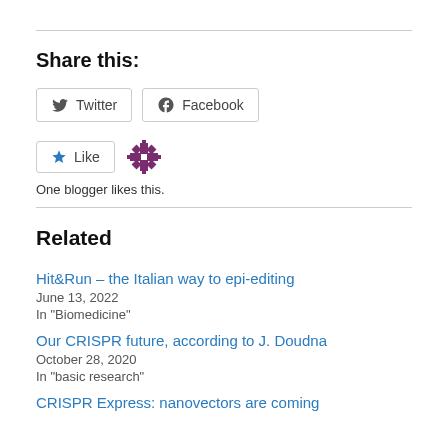Share this:
[Figure (other): Twitter and Facebook share buttons]
[Figure (other): Like button with blogger avatar icon. One blogger likes this.]
One blogger likes this.
Related
Hit&Run – the Italian way to epi-editing
June 13, 2022
In "Biomedicine"
Our CRISPR future, according to J. Doudna
October 28, 2020
In "basic research"
CRISPR Express: nanovectors are coming